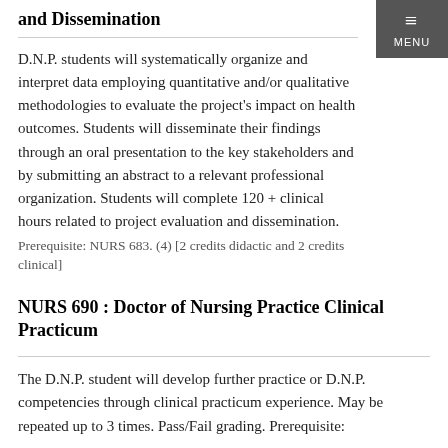and Dissemination
D.N.P. students will systematically organize and interpret data employing quantitative and/or qualitative methodologies to evaluate the project's impact on health outcomes. Students will disseminate their findings through an oral presentation to the key stakeholders and by submitting an abstract to a relevant professional organization. Students will complete 120 + clinical hours related to project evaluation and dissemination.
Prerequisite: NURS 683. (4) [2 credits didactic and 2 credits clinical]
NURS 690 : Doctor of Nursing Practice Clinical Practicum
The D.N.P. student will develop further practice or D.N.P. competencies through clinical practicum experience. May be repeated up to 3 times. Pass/Fail grading. Prerequisite: